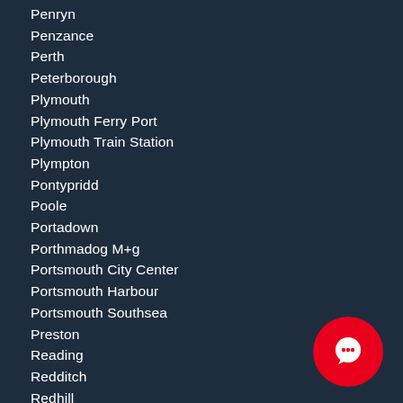Penryn
Penzance
Perth
Peterborough
Plymouth
Plymouth Ferry Port
Plymouth Train Station
Plympton
Pontypridd
Poole
Portadown
Porthmadog M+g
Portsmouth City Center
Portsmouth Harbour
Portsmouth Southsea
Preston
Reading
Redditch
Redhill
Reigate
Rochdale
Romford Train Station London
Ross On Wye
[Figure (illustration): Red circular chat button with white speech bubble icon in bottom right corner]